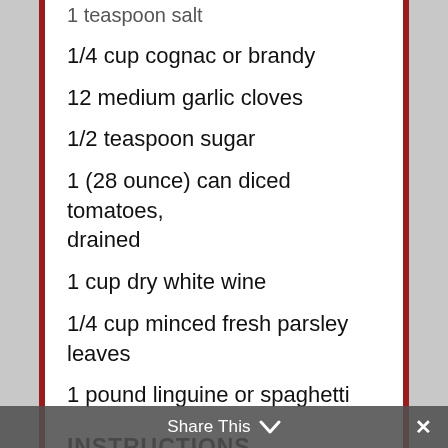1 teaspoon salt
1/4 cup cognac or brandy
12 medium garlic cloves
1/2 teaspoon sugar
1 (28 ounce) can diced tomatoes, drained
1 cup dry white wine
1/4 cup minced fresh parsley leaves
1 pound linguine or spaghetti
INSTRUCTIONS
Put four quarts of water in a large pot, add some salt, and drizzle in some olive oil, and start heating it up. By the time you get the shrimp ready, it'll be ready to cook the